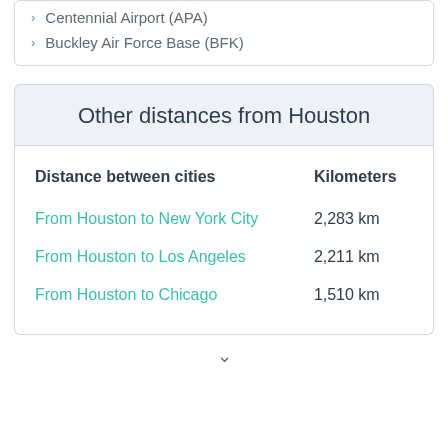Centennial Airport (APA)
Buckley Air Force Base (BFK)
Other distances from Houston
| Distance between cities | Kilometers |
| --- | --- |
| From Houston to New York City | 2,283 km |
| From Houston to Los Angeles | 2,211 km |
| From Houston to Chicago | 1,510 km |